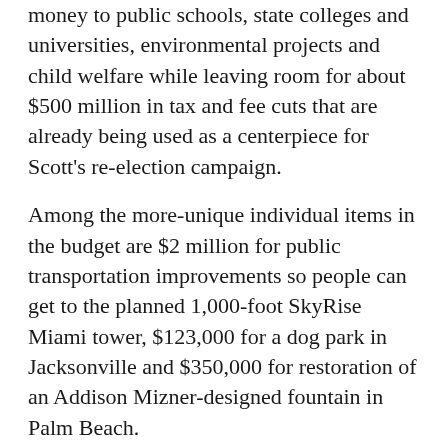money to public schools, state colleges and universities, environmental projects and child welfare while leaving room for about $500 million in tax and fee cuts that are already being used as a centerpiece for Scott's re-election campaign.
Among the more-unique individual items in the budget are $2 million for public transportation improvements so people can get to the planned 1,000-foot SkyRise Miami tower, $123,000 for a dog park in Jacksonville and $350,000 for restoration of an Addison Mizner-designed fountain in Palm Beach.
Scott has line-item veto power. Last year, he cut $368 million from what had been a $74.5 billion budget.
He cut $142.7 million from the spending plan in 2012, after nixing $615 million his first year in office.